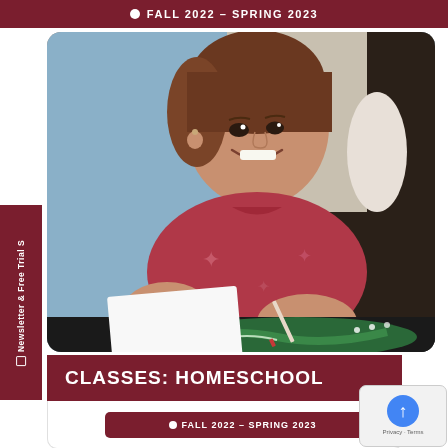FALL 2022 - SPRING 2023
[Figure (photo): Young girl smiling, leaning over a table, drawing or painting on dark green paper/surface with a pencil or pen. She is wearing a red star-print t-shirt. The image is taken in a classroom or art studio setting.]
Newsletter & Free Trial S
CLASSES: HOMESCHOOL
FALL 2022 - SPRING 2023